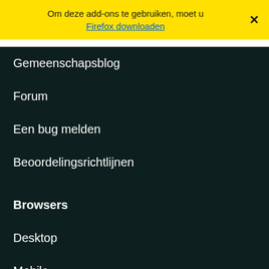Om deze add-ons te gebruiken, moet u Firefox downloaden
Gemeenschapsblog
Forum
Een bug melden
Beoordelingsrichtlijnen
Browsers
Desktop
Mobile
Enterprise
Producten